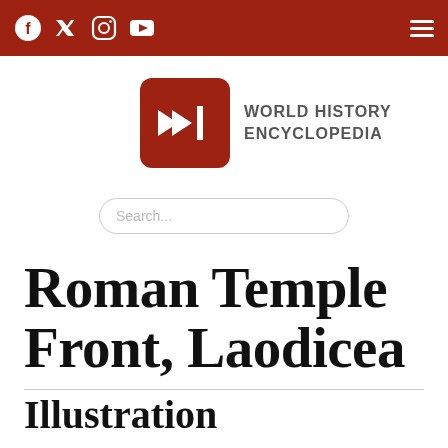World History Encyclopedia - social media icons and navigation
[Figure (logo): World History Encyclopedia logo: red rounded square with double arrow and vertical bar icon, next to the text WORLD HISTORY ENCYCLOPEDIA]
Search...
Roman Temple Front, Laodicea
Illustration